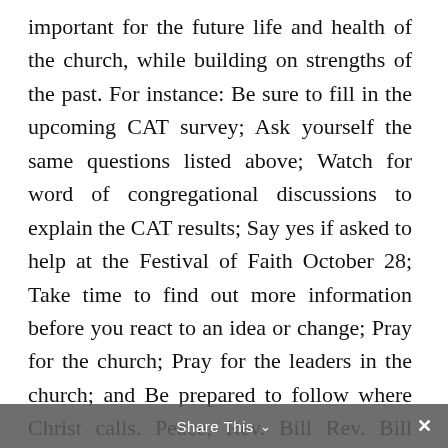important for the future life and health of the church, while building on strengths of the past. For instance: Be sure to fill in the upcoming CAT survey; Ask yourself the same questions listed above; Watch for word of congregational discussions to explain the CAT results; Say yes if asked to help at the Festival of Faith October 28; Take time to find out more information before you react to an idea or change; Pray for the church; Pray for the leaders in the church; and Be prepared to follow where Christ calls. Peace, Rev. Bill Rev. Bill Schram began his ministry with Westminster in March and is the current Interim Minister. Bill attended
Share This ∨  ×